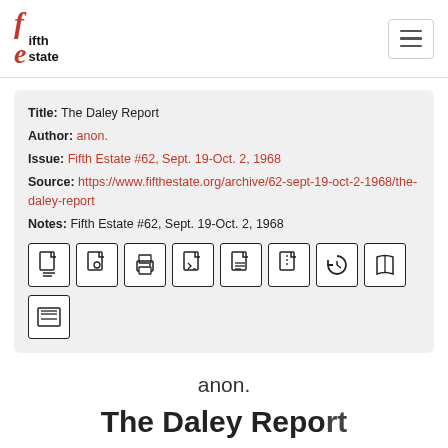fifth estate
| Title: | The Daley Report |
| Author: | anon. |
| Issue: | Fifth Estate #62, Sept. 19-Oct. 2, 1968 |
| Source: | https://www.fifthestate.org/archive/62-sept-19-oct-2-1968/the-daley-report |
| Notes: | Fifth Estate #62, Sept. 19-Oct. 2, 1968 |
[Figure (other): Row of document format icons: PDF, epub, print, code, text, zip, history, book, and list icons]
anon.
The Daley Report